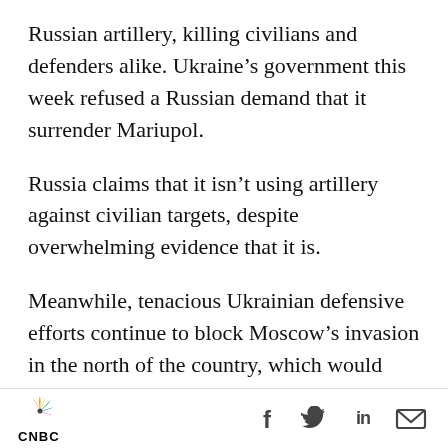Russian artillery, killing civilians and defenders alike. Ukraine's government this week refused a Russian demand that it surrender Mariupol.
Russia claims that it isn't using artillery against civilian targets, despite overwhelming evidence that it is.
Meanwhile, tenacious Ukrainian defensive efforts continue to block Moscow's invasion in the north of the country, which would include the long-stalled Russian drive toward Kyiv.
“The battlefield across northern Ukraine remains largely static with local Ukrainian counterattacks…
CNBC [logo] | Facebook | Twitter | LinkedIn | Email